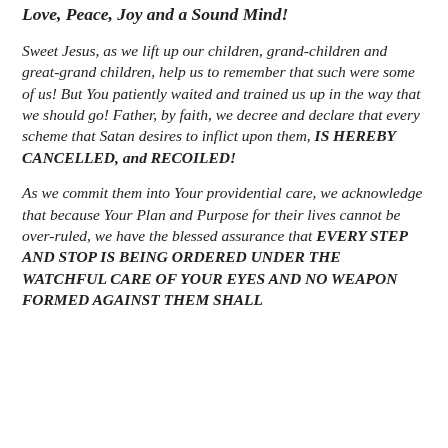Love, Peace, Joy and a Sound Mind!
Sweet Jesus, as we lift up our children, grand-children and great-grand children, help us to remember that such were some of us! But You patiently waited and trained us up in the way that we should go! Father, by faith, we decree and declare that every scheme that Satan desires to inflict upon them, IS HEREBY CANCELLED, and RECOILED!
As we commit them into Your providential care, we acknowledge that because Your Plan and Purpose for their lives cannot be over-ruled, we have the blessed assurance that EVERY STEP AND STOP IS BEING ORDERED UNDER THE WATCHFUL CARE OF YOUR EYES AND NO WEAPON FORMED AGAINST THEM SHALL